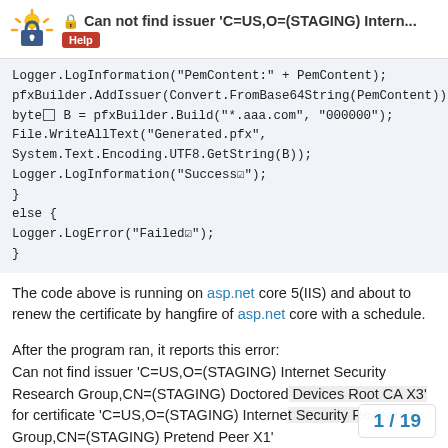Can not find issuer 'C=US,O=(STAGING) Intern... — Help
Logger.LogInformation("PemContent:" + PemContent);
pfxBuilder.AddIssuer(Convert.FromBase64String(PemContent));
byte[] B = pfxBuilder.Build("*.aaa.com", "000000");
File.WriteAllText("Generated.pfx",
System.Text.Encoding.UTF8.GetString(B));
Logger.LogInformation("Success✅");
}
else {
Logger.LogError("Failed✅");
}
The code above is running on asp.net core 5(IIS) and about to renew the certificate by hangfire of asp.net core with a schedule.
After the program ran, it reports this error:
Can not find issuer 'C=US,O=(STAGING) Internet Security Research Group,CN=(STAGING) Doctored Devices Root CA X3' for certificate 'C=US,O=(STAGING) Interne Group,CN=(STAGING) Pretend Peer X1'